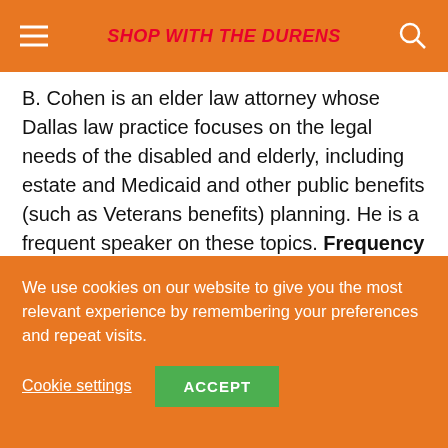SHOP WITH THE DURENS
B. Cohen is an elder law attorney whose Dallas law practice focuses on the legal needs of the disabled and elderly, including estate and Medicaid and other public benefits (such as Veterans benefits) planning. He is a frequent speaker on these topics. Frequency 8 episodes / quarter , Average Episode Length Array min Since Apr 2019 Podcast soundcloud.com/user-491608948
Twitter followers 99 · Domain Authority 93 · Alexa
We use cookies on our website to give you the most relevant experience by remembering your preferences and repeat visits.
Cookie settings  ACCEPT